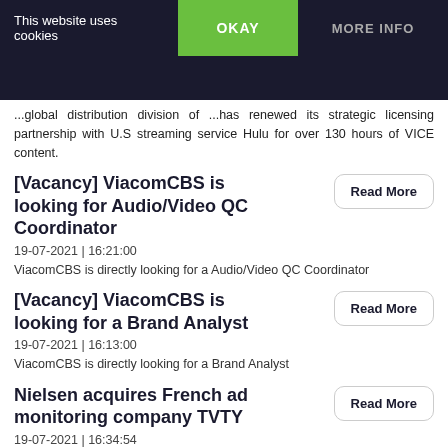Hulu
This website uses cookies
OKAY
MORE INFO
...global distribution division of ...has renewed its strategic licensing partnership with U.S streaming service Hulu for over 130 hours of VICE content.
[Vacancy] ViacomCBS is looking for Audio/Video QC Coordinator
Read More
19-07-2021 | 16:21:00
ViacomCBS is directly looking for a Audio/Video QC Coordinator
[Vacancy] ViacomCBS is looking for a Brand Analyst
Read More
19-07-2021 | 16:13:00
ViacomCBS is directly looking for a Brand Analyst
Nielsen acquires French ad monitoring company TVTY
Read More
19-07-2021 | 16:34:54